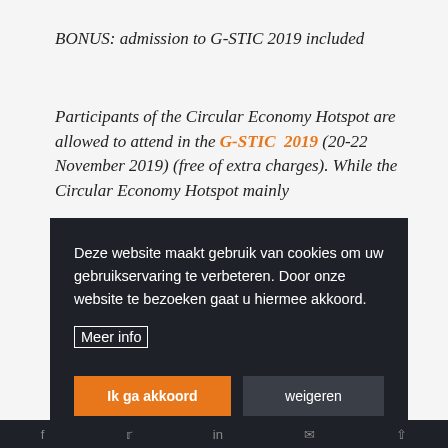BONUS: admission to G-STIC 2019 included
Participants of the Circular Economy Hotspot are allowed to attend in the G-STIC 2019 (20-22 November 2019) (free of extra charges). While the Circular Economy Hotspot mainly
[Figure (screenshot): Cookie consent overlay in Dutch with dark background. Text reads: 'Deze website maakt gebruik van cookies om uw gebruikservaring te verbeteren. Door onze website te bezoeken gaat u hiermee akkoord.' with 'Meer info' link and two buttons: 'Ik ga akkoord' (orange) and 'weigeren' (dark gray).]
Social media icons: Facebook, Twitter, LinkedIn, email, share